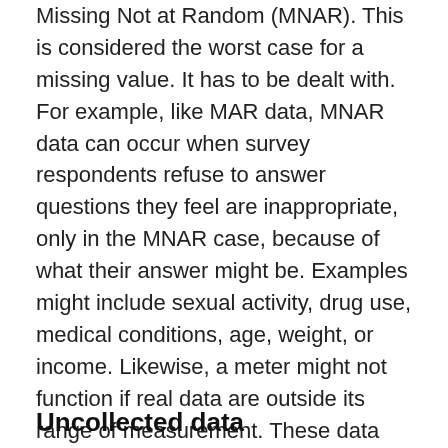Missing Not at Random (MNAR). This is considered the worst case for a missing value. It has to be dealt with. For example, like MAR data, MNAR data can occur when survey respondents refuse to answer questions they feel are inappropriate, only in the MNAR case, because of what their answer might be. Examples might include sexual activity, drug use, medical conditions, age, weight, or income. Likewise, a meter might not function if real data are outside its range of measurement. These data are also said to be “censored.” MNAR data can be replaced by some appropriate value (there are several approaches for doing this), in which case, the pattern of replacement must be analyzed as a new metric. MNAR data should not be ignored because the pattern of their occurrence is valuable information.
Uncollected data